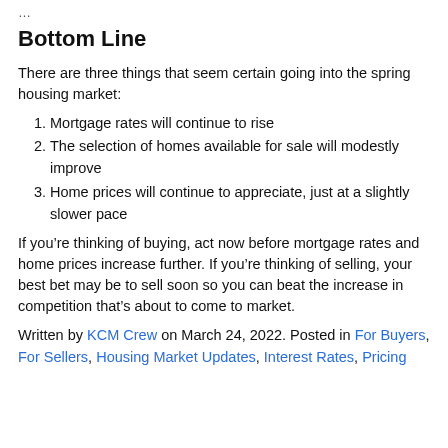Bottom Line
There are three things that seem certain going into the spring housing market:
Mortgage rates will continue to rise
The selection of homes available for sale will modestly improve
Home prices will continue to appreciate, just at a slightly slower pace
If you’re thinking of buying, act now before mortgage rates and home prices increase further. If you’re thinking of selling, your best bet may be to sell soon so you can beat the increase in competition that’s about to come to market.
Written by KCM Crew on March 24, 2022. Posted in For Buyers, For Sellers, Housing Market Updates, Interest Rates, Pricing